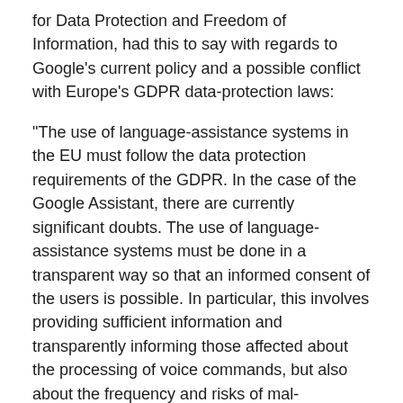for Data Protection and Freedom of Information, had this to say with regards to Google's current policy and a possible conflict with Europe's GDPR data-protection laws:
“The use of language-assistance systems in the EU must follow the data protection requirements of the GDPR. In the case of the Google Assistant, there are currently significant doubts. The use of language-assistance systems must be done in a transparent way so that an informed consent of the users is possible. In particular, this involves providing sufficient information and transparently informing those affected about the processing of voice commands, but also about the frequency and risks of mal-activation.”
Kudos to the EU for making a big enough deal